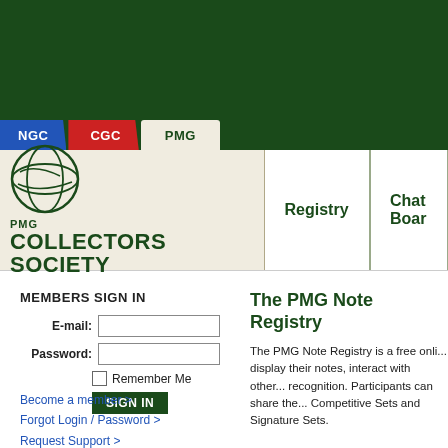[Figure (screenshot): PMG Collectors Society website header with dark green background]
[Figure (logo): PMG Collectors Society logo with globe icon and text]
Registry
Chat Boar
MEMBERS SIGN IN
E-mail:
Password:
Remember Me
SIGN IN
Become a member >
Forgot Login / Password >
Request Support >
The PMG Note Registry
The PMG Note Registry is a free onli... display their notes, interact with other... recognition. Participants can share the... Competitive Sets and Signature Sets.